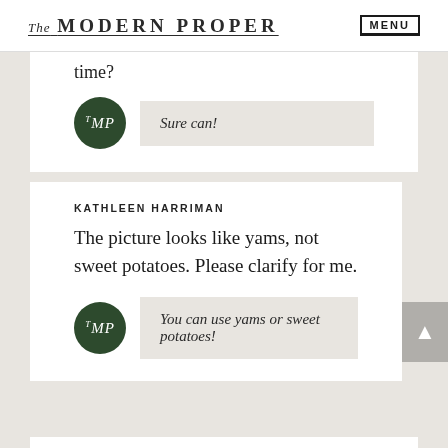The MODERN PROPER — MENU
time?
[Figure (logo): Dark green circular avatar with italic TMP monogram in white]
Sure can!
KATHLEEN HARRIMAN
The picture looks like yams, not sweet potatoes. Please clarify for me.
[Figure (logo): Dark green circular avatar with italic TMP monogram in white]
You can use yams or sweet potatoes!
LORRAINE